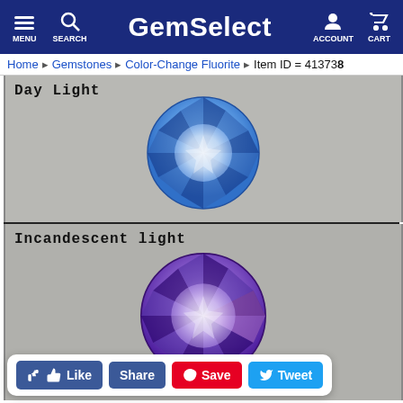GemSelect — MENU SEARCH ACCOUNT CART
Home > Gemstones > Color-Change Fluorite — Item ID = 413738
[Figure (photo): Color-change fluorite gemstone under Day Light — round faceted gem showing blue color, photographed from top]
[Figure (photo): Color-change fluorite gemstone under Incandescent light — round faceted gem showing purple/violet color, photographed from top]
Like  Share  Save  Tweet